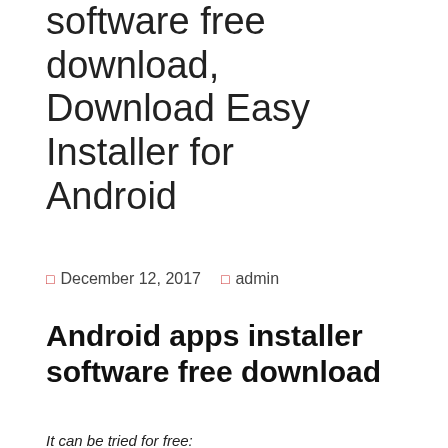software free download, Download Easy Installer for Android
December 12, 2017   admin
Android apps installer software free download
It can be tried for free:
Free Android App Builder Software – Convertigo
[Figure (screenshot): YouTube video thumbnail showing 'Free Android App Builder Software...' with a dk channel icon, teal background, tablet/device imagery, and a red play button overlay in the top right.]